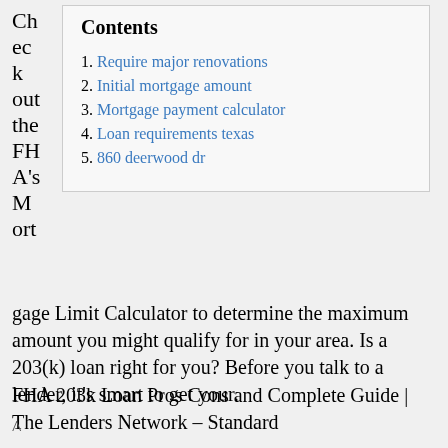Check out the FHA's Mortgage Limit Calculator to determine the maximum amount you might qualify for in your area. Is a 203(k) loan right for you? Before you talk to a lender, it's smart to get your.
| Contents |
| --- |
| 1. Require major renovations |
| 2. Initial mortgage amount |
| 3. Mortgage payment calculator |
| 4. Loan requirements texas |
| 5. 860 deerwood dr |
FHA 203k Loan Pros Cons and Complete Guide | The Lenders Network – Standard